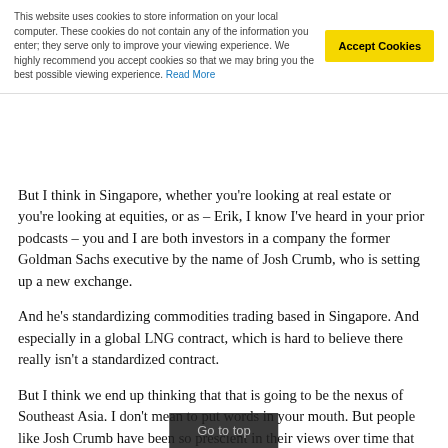This website uses cookies to store information on your local computer. These cookies do not contain any of the information you enter; they serve only to improve your viewing experience. We highly recommend you accept cookies so that we may bring you the best possible viewing experience. Read More
But I think in Singapore, whether you're looking at real estate or you're looking at equities, or as – Erik, I know I've heard in your prior podcasts – you and I are both investors in a company the former Goldman Sachs executive by the name of Josh Crumb, who is setting up a new exchange.
And he's standardizing commodities trading based in Singapore. And especially in a global LNG contract, which is hard to believe there really isn't a standardized contract.
But I think we end up thinking that that is going to be the nexus of Southeast Asia. I don't mean to put words in your mouth. But people like Josh Crumb have been so prescient in their views over time that they've chosen the right markets, the right regions, the right macros altogether. And they've been able toour, five years